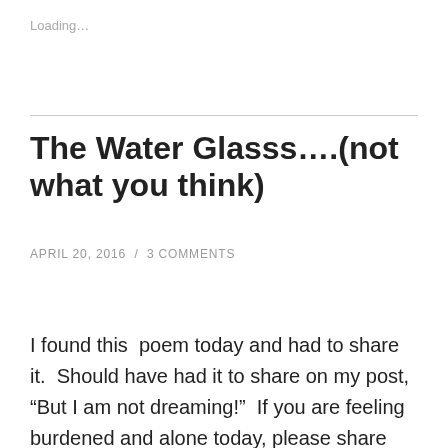Loading…
The Water Glasss….(not what you think)
APRIL 20, 2016  /  3 COMMENTS
I found this  poem today and had to share it.  Should have had it to share on my post, “But I am not dreaming!”  If you are feeling burdened and alone today, please share with someone. We were never meant to carry our burdens alone! We were created